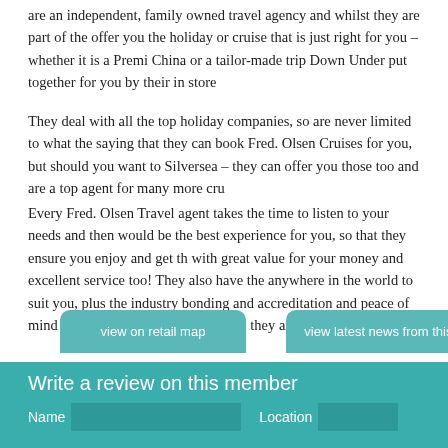are an independent, family owned travel agency and whilst they are part of the offer you the holiday or cruise that is just right for you – whether it is a Premi China or a tailor-made trip Down Under put together for you by their in store
They deal with all the top holiday companies, so are never limited to what the saying that they can book Fred. Olsen Cruises for you, but should you want to Silversea – they can offer you those too and are a top agent for many more cru
Every Fred. Olsen Travel agent takes the time to listen to your needs and then would be the best experience for you, so that they ensure you enjoy and get th with great value for your money and excellent service too! They also have the anywhere in the world to suit you, plus the industry bonding and accreditation and peace of mind should anything not go to plan - they are here in Bury St E
view on retail map
view latest news from this member
Write a review on this member
Name   Location